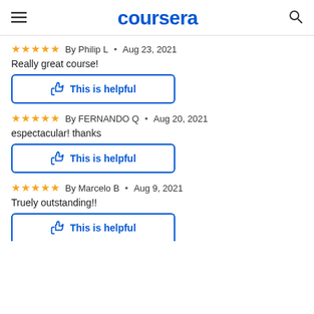coursera
By Philip L · Aug 23, 2021
Really great course!
This is helpful
By FERNANDO Q · Aug 20, 2021
espectacular! thanks
This is helpful
By Marcelo B · Aug 9, 2021
Truely outstanding!!
This is helpful